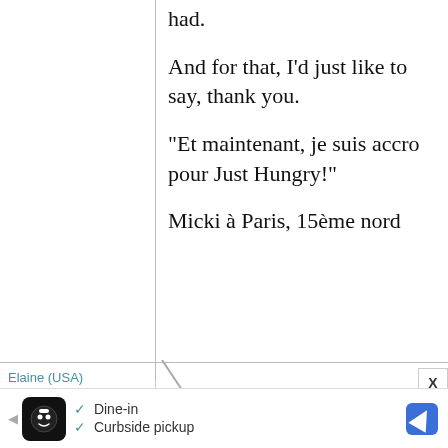had.

And for that, I'd just like to say, thank you.

"Et maintenant, je suis accro pour Just Hungry!"

Micki à Paris, 15ème nord
Elaine (USA)
1 December,
I used to
[Figure (other): Advertisement bar at bottom with restaurant icon, play button, Dine-in and Curbside pickup checkmarks, and navigation icon]